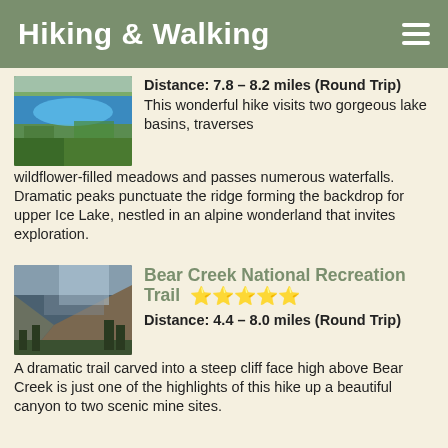Hiking & Walking
[Figure (photo): Aerial view of alpine lake basin with green meadows and blue lake]
Distance: 7.8 – 8.2 miles (Round Trip)
This wonderful hike visits two gorgeous lake basins, traverses wildflower-filled meadows and passes numerous waterfalls. Dramatic peaks punctuate the ridge forming the backdrop for upper Ice Lake, nestled in an alpine wonderland that invites exploration.
[Figure (photo): Mountain trail carved into a steep rocky cliff face above a canyon with conifer trees]
Bear Creek National Recreation Trail ★★★★½
Distance: 4.4 – 8.0 miles (Round Trip)
A dramatic trail carved into a steep cliff face high above Bear Creek is just one of the highlights of this hike up a beautiful canyon to two scenic mine sites.